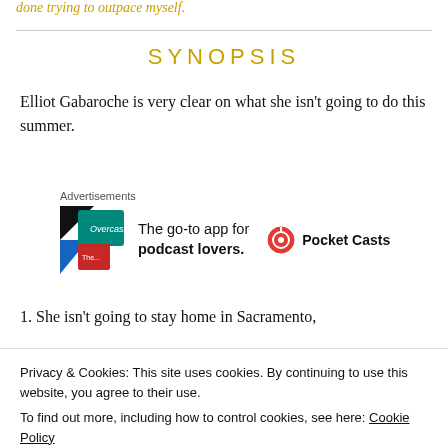done trying to outpace myself.
SYNOPSIS
Elliot Gabaroche is very clear on what she isn’t going to do this summer.
[Figure (other): Advertisement for Pocket Casts app: colorful app icon tiles on left, text 'The go-to app for podcast lovers.' and Pocket Casts logo/name on right]
1. She isn’t going to stay home in Sacramento,
Privacy & Cookies: This site uses cookies. By continuing to use this website, you agree to their use.
To find out more, including how to control cookies, see here: Cookie Policy
Close and accept